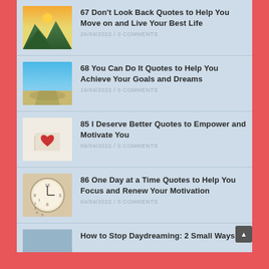67 Don't Look Back Quotes to Help You Move on and Live Your Best Life
26/04/2022 / 0 COMMENTS
68 You Can Do It Quotes to Help You Achieve Your Goals and Dreams
19/04/2022 / 0 COMMENTS
85 I Deserve Better Quotes to Empower and Motivate You
09/04/2022 / 0 COMMENTS
86 One Day at a Time Quotes to Help You Focus and Renew Your Motivation
04/04/2022 / 0 COMMENTS
How to Stop Daydreaming: 2 Small Ways to…